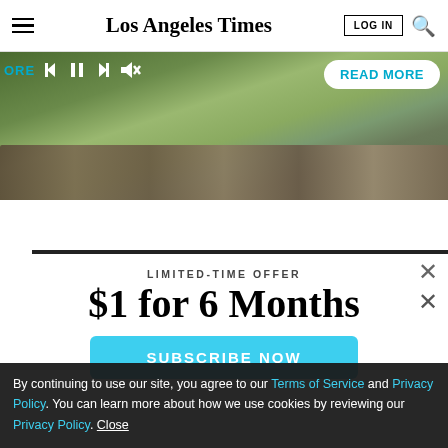Los Angeles Times
[Figure (screenshot): Video player banner showing a garden/pool scene with rocks and tropical plants. Controls visible: ORE label, back, pause, skip, mute buttons. READ MORE button on right.]
LIMITED-TIME OFFER
$1 for 6 Months
SUBSCRIBE NOW
By continuing to use our site, you agree to our Terms of Service and Privacy Policy. You can learn more about how we use cookies by reviewing our Privacy Policy. Close